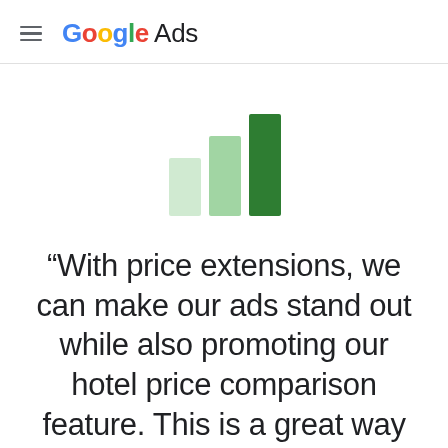≡ Google Ads
[Figure (illustration): Three vertical bars of increasing height representing a bar chart growth icon. The bars are colored in light green (lightest), medium green, and dark green (tallest), suggesting an upward trend.]
“With price extensions, we can make our ads stand out while also promoting our hotel price comparison feature. This is a great way to show our users that TripAdvisor can help them